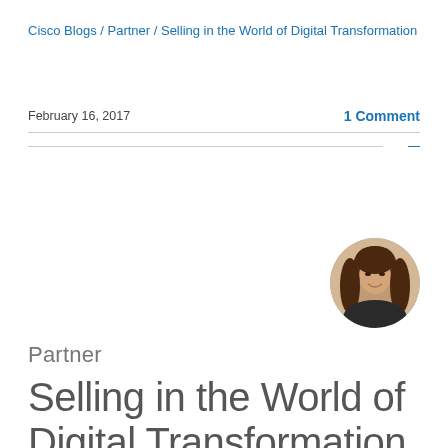Cisco Blogs / Partner / Selling in the World of Digital Transformation
February 16, 2017
1 Comment
[Figure (photo): Circular headshot photo of a woman with brown hair, smiling]
Partner
Selling in the World of Digital Transformation